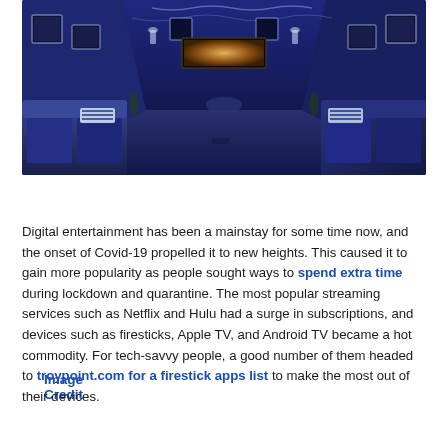[Figure (photo): Interior of a dark blue home theater room with rows of seating, framed artwork on walls, and a large screen TV at the far end with ambient blue lighting]
Image Credit
Digital entertainment has been a mainstay for some time now, and the onset of Covid-19 propelled it to new heights. This caused it to gain more popularity as people sought ways to spend extra time during lockdown and quarantine. The most popular streaming services such as Netflix and Hulu had a surge in subscriptions, and devices such as firesticks, Apple TV, and Android TV became a hot commodity. For tech-savvy people, a good number of them headed to troypoint.com for a firestick apps list to make the most out of their devices.